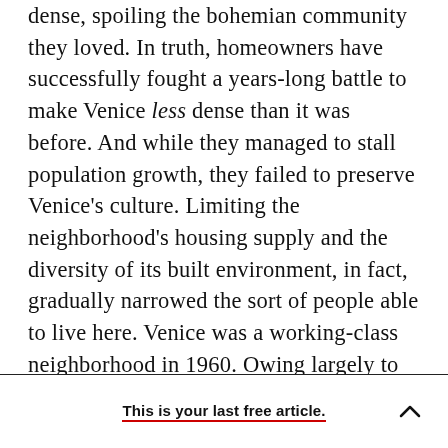dense, spoiling the bohemian community they loved. In truth, homeowners have successfully fought a years-long battle to make Venice less dense than it was before. And while they managed to stall population growth, they failed to preserve Venice's culture. Limiting the neighborhood's housing supply and the diversity of its built environment, in fact, gradually narrowed the sort of people able to live here. Venice was a working-class neighborhood in 1960. Owing largely to repressive land-use rules, its rents and median income rose much more sharply than those of L.A. as a whole. Venice is on course to be like Newport Beach by 2050, but less
This is your last free article.